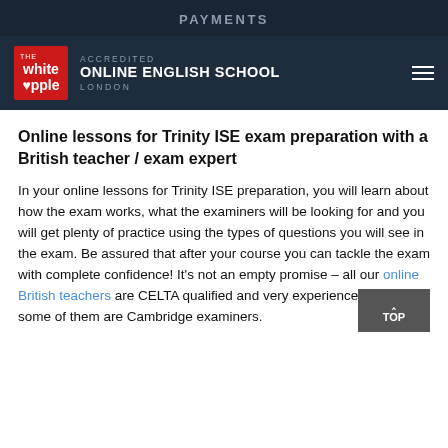PAYMENTS
[Figure (logo): The White Apple Accredited Online English School London logo with red square and navigation bar on dark background]
Online lessons for Trinity ISE exam preparation with a British teacher / exam expert
In your online lessons for Trinity ISE preparation, you will learn about how the exam works, what the examiners will be looking for and you will get plenty of practice using the types of questions you will see in the exam. Be assured that after your course you can tackle the exam with complete confidence! It's not an empty promise – all our online British teachers are CELTA qualified and very experienced, and some of them are Cambridge examiners.